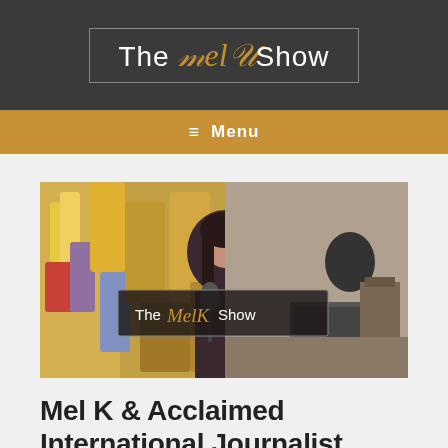The MelK Show
Menu
[Figure (photo): A woman sitting at a desk with a microphone in front of colorful artwork, with The MelK Show logo overlay]
Mel K & Acclaimed International Journalist Benjamin Fulford Expose Geopolitical Truth 12-1-21